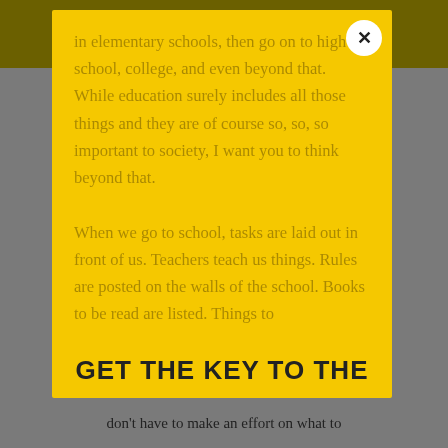FREE WORKBOOK DISCOVER YOUR PURPOSE AND LEAD FROM THE HEART
in elementary schools, then go on to high school, college, and even beyond that. While education surely includes all those things and they are of course so, so, so important to society, I want you to think beyond that.

When we go to school, tasks are laid out in front of us. Teachers teach us things. Rules are posted on the walls of the school. Books to be read are listed. Things to
GET THE KEY TO THE
don't have to make an effort on what to